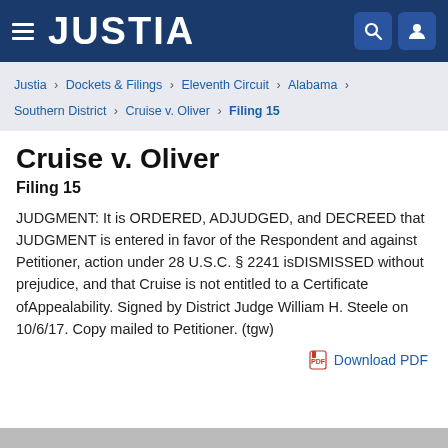JUSTIA
Justia › Dockets & Filings › Eleventh Circuit › Alabama › Southern District › Cruise v. Oliver › Filing 15
Cruise v. Oliver
Filing 15
JUDGMENT: It is ORDERED, ADJUDGED, and DECREED that JUDGMENT is entered in favor of the Respondent and against Petitioner, action under 28 U.S.C. § 2241 isDISMISSED without prejudice, and that Cruise is not entitled to a Certificate ofAppealability. Signed by District Judge William H. Steele on 10/6/17. Copy mailed to Petitioner. (tgw)
Download PDF